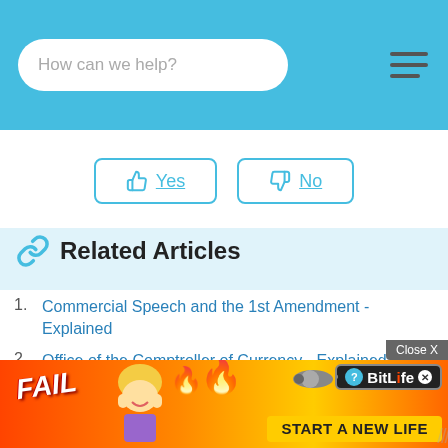How can we help?
[Figure (screenshot): Yes and No feedback buttons with thumbs up and thumbs down icons, teal border styling]
Related Articles
Commercial Speech and the 1st Amendment - Explained
Office of the Comptroller of Currency - Explained
Recognizing Property Rights - Explained
US ... ained
[Figure (screenshot): BitLife advertisement banner with FAIL text, cartoon character, flames, Close X button, and START A NEW LIFE text]